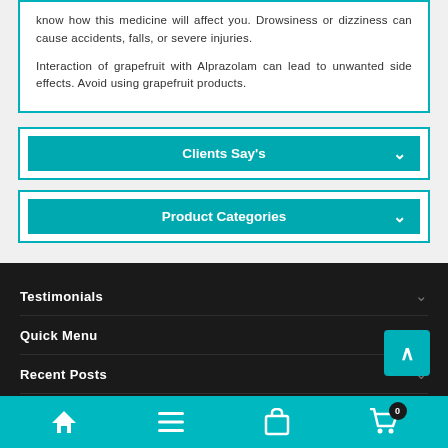know how this medicine will affect you. Drowsiness or dizziness can cause accidents, falls, or severe injuries.
Interaction of grapefruit with Alprazolam can lead to unwanted side effects. Avoid using grapefruit products.
Clients Say's
Product Categories
Testimonials
Quick Menu
Recent Posts
Contact Details